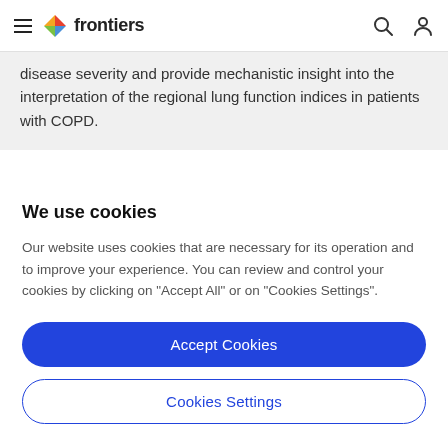frontiers
disease severity and provide mechanistic insight into the interpretation of the regional lung function indices in patients with COPD.
We use cookies
Our website uses cookies that are necessary for its operation and to improve your experience. You can review and control your cookies by clicking on "Accept All" or on "Cookies Settings".